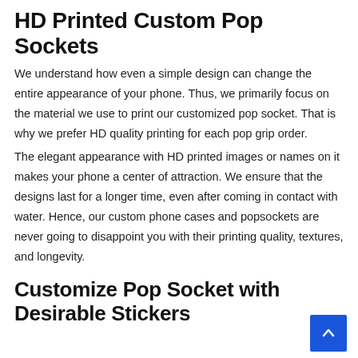HD Printed Custom Pop Sockets
We understand how even a simple design can change the entire appearance of your phone. Thus, we primarily focus on the material we use to print our customized pop socket. That is why we prefer HD quality printing for each pop grip order.
The elegant appearance with HD printed images or names on it makes your phone a center of attraction. We ensure that the designs last for a longer time, even after coming in contact with water. Hence, our custom phone cases and popsockets are never going to disappoint you with their printing quality, textures, and longevity.
Customize Pop Socket with Desirable Stickers